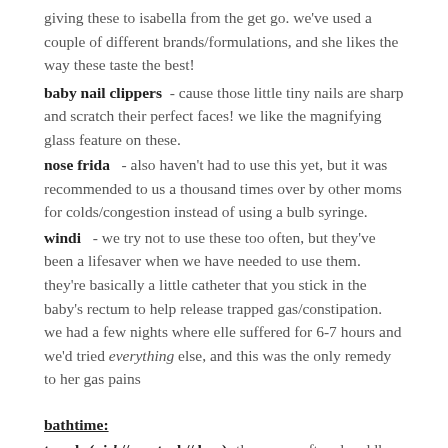giving these to isabella from the get go. we've used a couple of different brands/formulations, and she likes the way these taste the best!
baby nail clippers - cause those little tiny nails are sharp and scratch their perfect faces! we like the magnifying glass feature on these.
nose frida - also haven't had to use this yet, but it was recommended to us a thousand times over by other moms for colds/congestion instead of using a bulb syringe.
windi - we try not to use these too often, but they've been a lifesaver when we have needed to use them. they're basically a little catheter that you stick in the baby's rectum to help release trapped gas/constipation. we had a few nights where elle suffered for 6-7 hours and we'd tried everything else, and this was the only remedy to her gas pains
bathtime:
towels (girl // neutral // boy)- these are soft and cuddly and absolutely adorable. elle loves the little